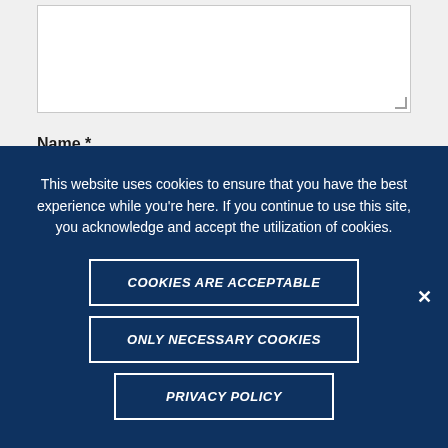[textarea field]
Name *
[name input field]
This website uses cookies to ensure that you have the best experience while you're here. If you continue to use this site, you acknowledge and accept the utilization of cookies.
COOKIES ARE ACCEPTABLE
ONLY NECESSARY COOKIES
PRIVACY POLICY